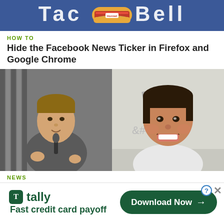[Figure (photo): Blue advertisement banner with partial white text (appears to be Taco Bell style) and a hotdog/food product image in center on blue background]
HOW TO
Hide the Facebook News Ticker in Firefox and Google Chrome
[Figure (photo): Side-by-side photos: left shows Mark Zuckerberg speaking at a podium in a gray t-shirt; right shows a smiling man with dark hair in front of a whiteboard]
NEWS
[Figure (infographic): Tally advertisement banner: tally logo with 'Fast credit card payoff' text on left, and a dark green 'Download Now' button with arrow on right. Close (X) and question mark buttons in top right corner.]